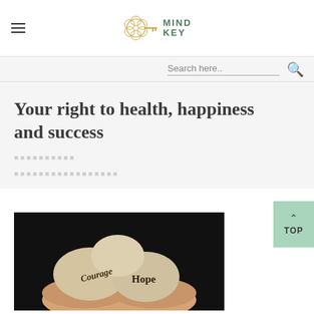MIND KEY (logo with key icon)
Search here..
Your right to health, happiness and success
[Figure (photo): Hands holding three stone pebbles engraved with the words Courage and Hope]
[Figure (other): TOP scroll-to-top button in sage green]